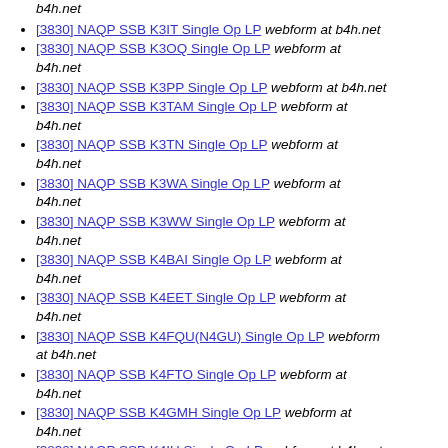b4h.net
[3830] NAQP SSB K3IT Single Op LP  webform at b4h.net
[3830] NAQP SSB K3OQ Single Op LP  webform at b4h.net
[3830] NAQP SSB K3PP Single Op LP  webform at b4h.net
[3830] NAQP SSB K3TAM Single Op LP  webform at b4h.net
[3830] NAQP SSB K3TN Single Op LP  webform at b4h.net
[3830] NAQP SSB K3WA Single Op LP  webform at b4h.net
[3830] NAQP SSB K3WW Single Op LP  webform at b4h.net
[3830] NAQP SSB K4BAI Single Op LP  webform at b4h.net
[3830] NAQP SSB K4EET Single Op LP  webform at b4h.net
[3830] NAQP SSB K4FQU(N4GU) Single Op LP  webform at b4h.net
[3830] NAQP SSB K4FTO Single Op LP  webform at b4h.net
[3830] NAQP SSB K4GMH Single Op LP  webform at b4h.net
[3830] NAQP SSB K4IU Single Op LP  webform at b4h.net
[3830] NAQP SSB K4NV Single Op LP  webform at b4h.net
b4h.net